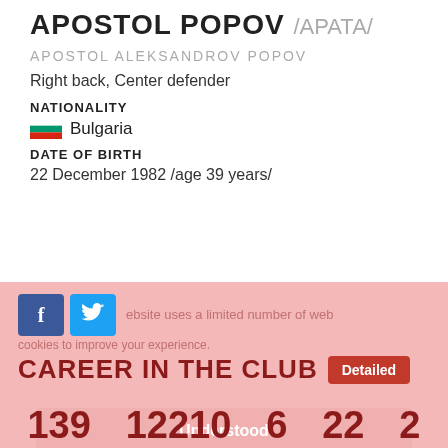APOSTOL POPOV /APATA/
APOSTOL ALEKSANDROV POPOV
Right back, Center defender
NATIONALITY
Bulgaria
DATE OF BIRTH
22 December 1982 /age 39 years/
[Figure (screenshot): Social media buttons (Facebook, Twitter) and cookie consent overlay with text 'website uses a limited number of web']
CAREER IN THE CLUB
Understood
139  12210  6  22  2